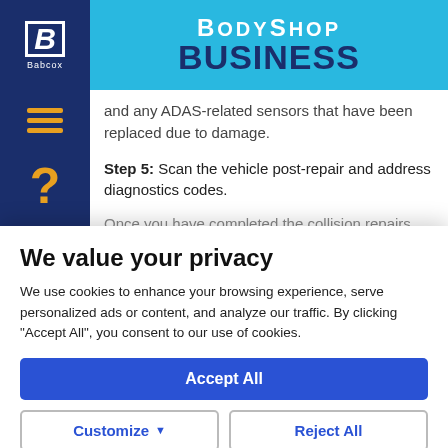BodyShop Business
and any ADAS-related sensors that have been replaced due to damage.
Step 5: Scan the vehicle post-repair and address diagnostics codes.
Once you have completed the collision repairs
We value your privacy
We use cookies to enhance your browsing experience, serve personalized ads or content, and analyze our traffic. By clicking "Accept All", you consent to our use of cookies.
Accept All
Customize
Reject All